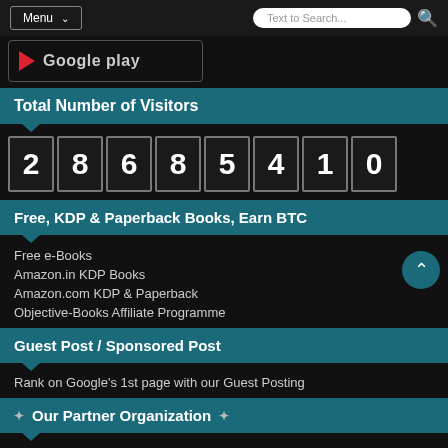Menu  Text to Search...
[Figure (screenshot): Google Play store banner/badge partially visible]
Total Number of Visitors
28685410
Free, KDP & Paperback Books, Earn BTC
Free e-Books
Amazon.in KDP Books
Amazon.com KDP & Paperback
Objective-Books Affiliate Programme
Guest Post / Sponsored Post
Rank on Google's 1st page with our Guest Posting
Our Partner Organization
Event Management & Interior Designing